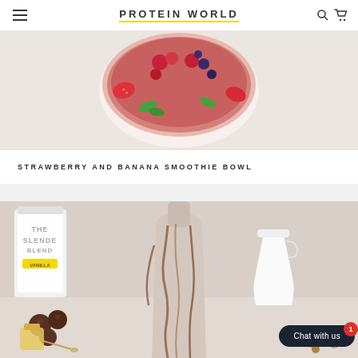PROTEIN WORLD
[Figure (photo): Top-down view of a strawberry and banana smoothie bowl with fresh strawberries, blueberries and mint leaves on a white marble surface]
STRAWBERRY AND BANANA SMOOTHIE BOWL
[Figure (photo): A glass milk bottle drizzled with chocolate sauce, surrounded by chocolate energy balls, a jar of honey, a white ceramic jug and nuts, with a Protein World The Slender Blend container in the background. A 'Chat with us' button overlay with notification badge showing 1.]